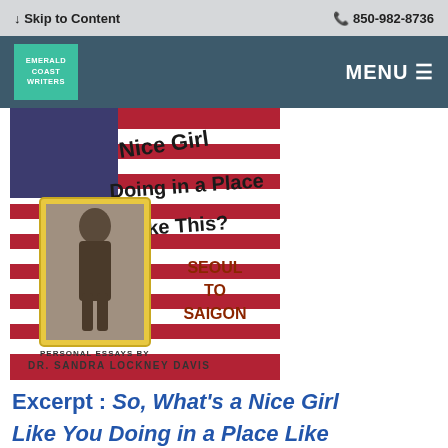↓ Skip to Content   850-982-8736
EMERALD COAST WRITERS   MENU
[Figure (photo): Book cover of 'What's a Nice Girl Doing in a Place Like This? Seoul to Saigon' by Dr. Sandra Lockney Davis. The cover shows handwritten-style title text over an American flag background, with a vintage photograph of a young woman in a yellow frame.]
Excerpt : So, What's a Nice Girl Like You Doing in a Place Like...